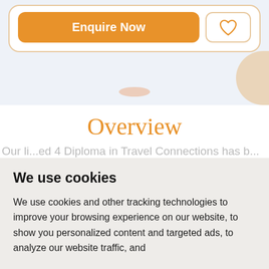[Figure (screenshot): Top section of a web page showing an orange 'Enquire Now' button and a heart/favourite button inside a card with rounded border, on a light blue-grey background with decorative elements.]
Overview
Our li...ed 4 Diploma in Travel Connections has b...
We use cookies
We use cookies and other tracking technologies to improve your browsing experience on our website, to show you personalized content and targeted ads, to analyze our website traffic, and